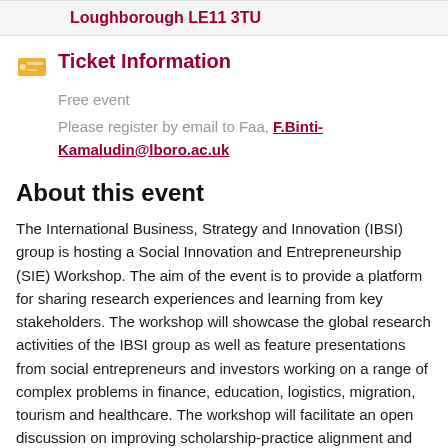Loughborough LE11 3TU
Ticket Information
Free event
Please register by email to Faa, F.Binti-Kamaludin@lboro.ac.uk
About this event
The International Business, Strategy and Innovation (IBSI) group is hosting a Social Innovation and Entrepreneurship (SIE) Workshop. The aim of the event is to provide a platform for sharing research experiences and learning from key stakeholders. The workshop will showcase the global research activities of the IBSI group as well as feature presentations from social entrepreneurs and investors working on a range of complex problems in finance, education, logistics, migration, tourism and healthcare. The workshop will facilitate an open discussion on improving scholarship-practice alignment and highlight exciting new opportunities for conducting impactful SIE research.